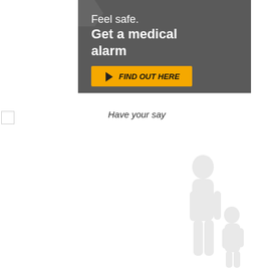[Figure (infographic): Medical alarm advertisement banner. Dark grey background with a chevron/arrow shape on the left. Text reads 'Feel safe. Get a medical alarm' in white. Below is an orange button with black play triangle icon and text 'FIND OUT HERE' in bold italic.]
Have your say
[Figure (photo): Faded/ghosted grayscale image of two elderly people (an older adult and a child) visible at the bottom right of the page.]